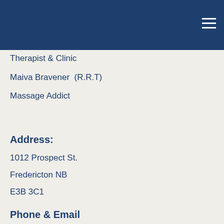Therapist & Clinic
Maiva Bravener  (R.R.T)
Massage Addict
Address:
1012 Prospect St.
Fredericton NB
E3B 3C1
Phone & Email